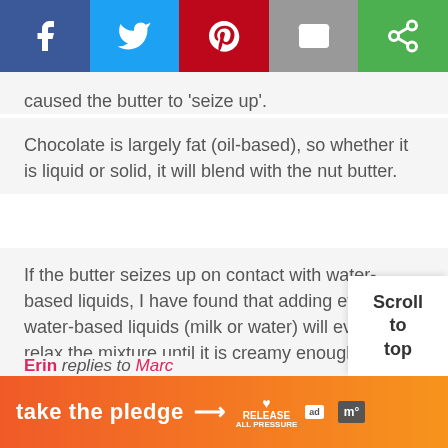[Figure (infographic): Social share bar with Facebook (blue), Twitter (light blue), Pinterest (red), Email (grey), and another share option (green) buttons with white icons]
caused the butter to 'seize up'.
Chocolate is largely fat (oil-based), so whether it is liquid or solid, it will blend with the nut butter.
If the butter seizes up on contact with water-based liquids, I have found that adding even more water-based liquids (milk or water) will eventually relax the mixture until it is creamy enough to fool my kids!
Erin replies to Marc
July 23, 2016 @ 8:45 pm
[Figure (infographic): Scroll to top button (white box, bottom right)]
[Figure (infographic): Advertisement banner: 'take the pledge' with arrow, Release All Pressure logo, ad badge, Moat logo]